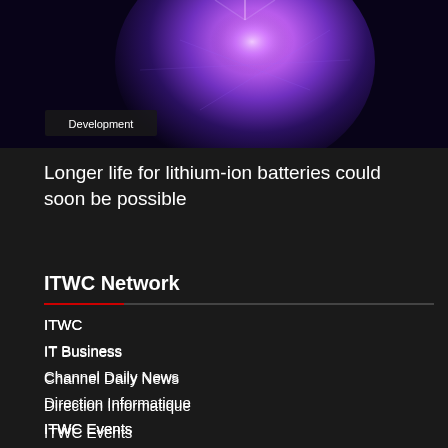[Figure (photo): Purple and blue glowing digital sphere or ball with light rays, on dark background, with a 'Development' badge overlay in the bottom left.]
Longer life for lithium-ion batteries could soon be possible
ITWC Network
ITWC
IT Business
Channel Daily News
Direction Informatique
ITWC Events
ITWC Podcasts
Follow Us